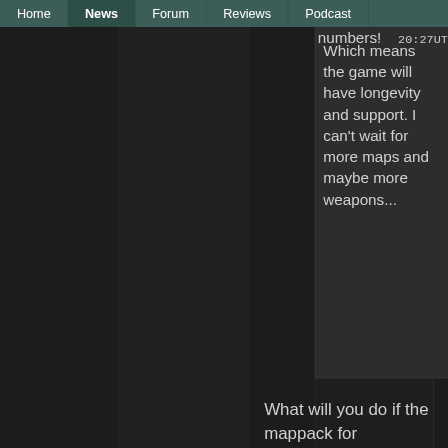Home | News | Forum | Reviews | Podcast
numbers! 20:27UTC Which means the game will have longevity and support. I can't wait for more maps and maybe more weapons...
What will you do if the mappack for